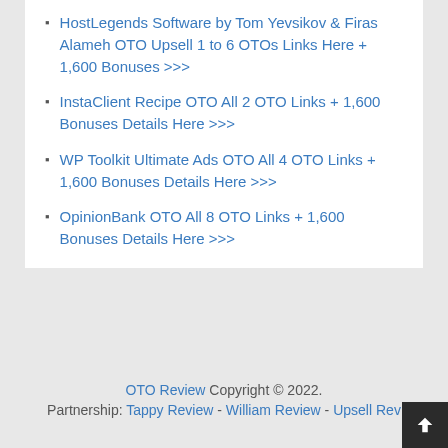HostLegends Software by Tom Yevsikov & Firas Alameh OTO Upsell 1 to 6 OTOs Links Here + 1,600 Bonuses >>>
InstaClient Recipe OTO All 2 OTO Links + 1,600 Bonuses Details Here >>>
WP Toolkit Ultimate Ads OTO All 4 OTO Links + 1,600 Bonuses Details Here >>>
OpinionBank OTO All 8 OTO Links + 1,600 Bonuses Details Here >>>
OTO Review Copyright © 2022. Partnership: Tappy Review - William Review - Upsell Rev…